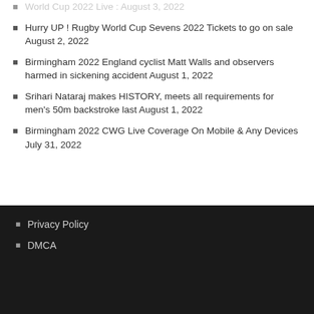World Cup 2022 Live : August 3, 2022
Hurry UP ! Rugby World Cup Sevens 2022 Tickets to go on sale August 2, 2022
Birmingham 2022 England cyclist Matt Walls and observers harmed in sickening accident August 1, 2022
Srihari Nataraj makes HISTORY, meets all requirements for men's 50m backstroke last August 1, 2022
Birmingham 2022 CWG Live Coverage On Mobile & Any Devices July 31, 2022
Privacy Policy
DMCA